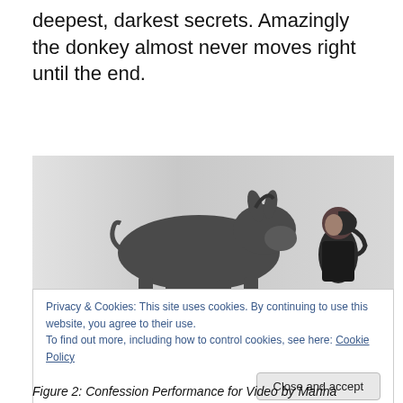deepest, darkest secrets. Amazingly the donkey almost never moves right until the end.
[Figure (photo): Black and white photograph of a donkey facing right toward a woman with dark hair in a ponytail, on a light background. A cookie consent overlay appears over the bottom portion of the image with text: 'Privacy & Cookies: This site uses cookies. By continuing to use this website, you agree to their use. To find out more, including how to control cookies, see here: Cookie Policy' and a 'Close and accept' button.]
Figure 2: Confession Performance for Video by Marina